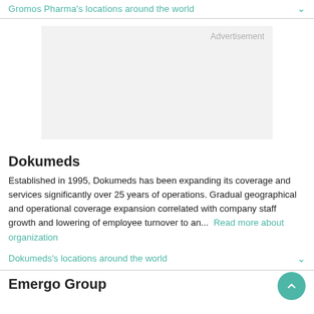Gromos Pharma's locations around the world
[Figure (other): Advertisement placeholder box with light gray background and 'Advertisement' label in top right corner]
Dokumeds
Established in 1995, Dokumeds has been expanding its coverage and services significantly over 25 years of operations. Gradual geographical and operational coverage expansion correlated with company staff growth and lowering of employee turnover to an...
Read more about organization
Dokumeds's locations around the world
Emergo Group